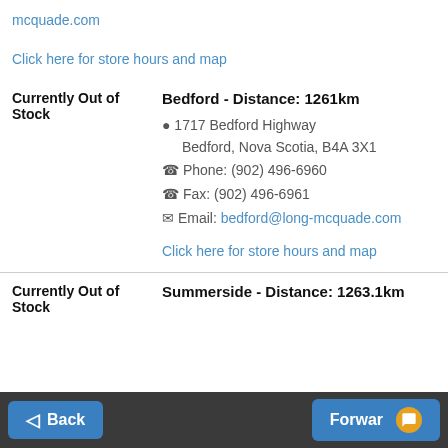mcquade.com
Click here for store hours and map
| Currently Out of Stock | Bedford - Distance: 1261km
📍 1717 Bedford Highway Bedford, Nova Scotia, B4A 3X1
📞 Phone: (902) 496-6960
📞 Fax: (902) 496-6961
✉ Email: bedford@long-mcquade.com
Click here for store hours and map |
| Currently Out of Stock | Summerside - Distance: 1263.1km |
Back | Forward